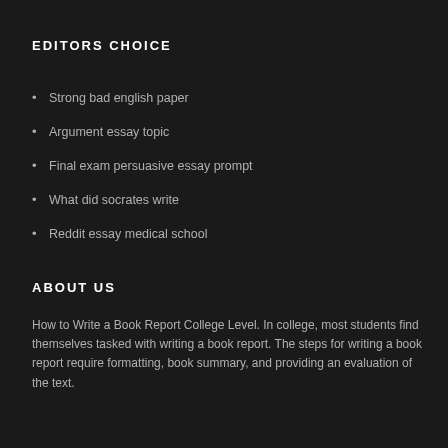EDITORS CHOICE
Strong bad english paper
Argument essay topic
Final exam persuasive essay prompt
What did socrates write
Reddit essay medical school
ABOUT US
How to Write a Book Report College Level. In college, most students find themselves tasked with writing a book report. The steps for writing a book report require formatting, book summary, and providing an evaluation of the text.